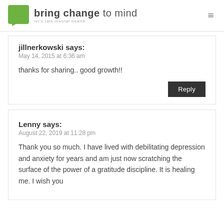bring change to mind — let's talk mental health
jillnerkowski says:
May 14, 2015 at 6:36 am
thanks for sharing.. good growth!!
Lenny says:
August 22, 2019 at 11:28 pm
Thank you so much. I have lived with debilitating depression and anxiety for years and am just now scratching the surface of the power of a gratitude discipline. It is healing me. I wish you